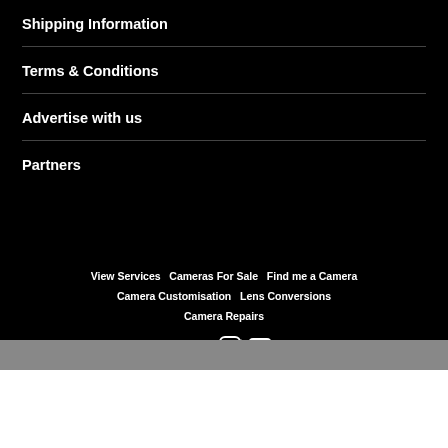Shipping Information
Terms & Conditions
Advertise with us
Partners
View Services   Cameras For Sale   Find me a Camera   Camera Customisation   Lens Conversions   Camera Repairs
[Figure (infographic): Social media icons: Facebook, Twitter, Instagram, YouTube]